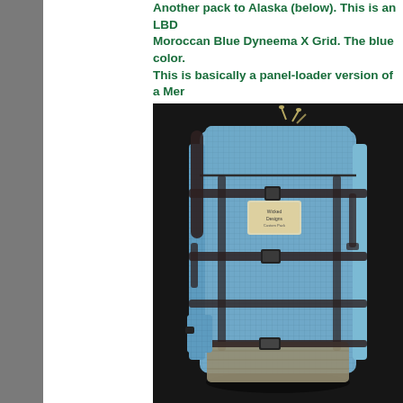Another pack to Alaska (below). This is an LBD Moroccan Blue Dyneema X Grid. The blue color. This is basically a panel-loader version of a Mer daypacks.
[Figure (photo): A large blue Dyneema X Grid backpack with dark brown/black buckle straps and compression straps, photographed against a dark background. The pack has a waxed canvas bottom panel and a small brand label on the front.]